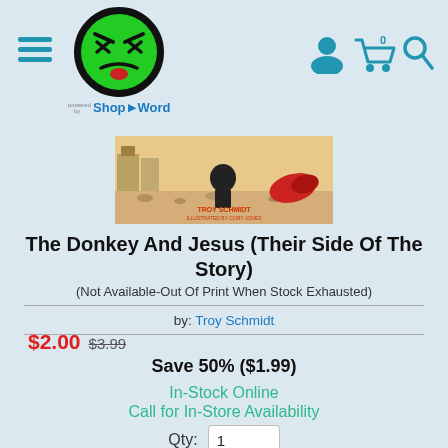ShopByWord navigation header with logo and icons
[Figure (illustration): Book cover for The Donkey And Jesus (Their Side Of The Story) by Troy Schmidt, illustrated by Cory Jones]
The Donkey And Jesus (Their Side Of The Story)
(Not Available-Out Of Print When Stock Exhausted)
by: Troy Schmidt
$2.00 $3.99
Save 50% ($1.99)
In-Stock Online
Call for In-Store Availability
Qty: 1